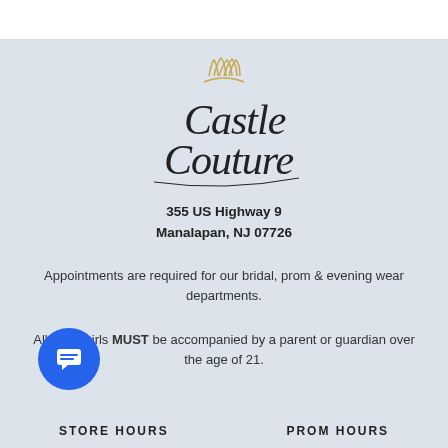[Figure (logo): Castle Couture script logo with gold crown above text]
355 US Highway 9
Manalapan, NJ 07726
Appointments are required for our bridal, prom & evening wear departments.
All prom girls MUST be accompanied by a parent or guardian over the age of 21.
STORE HOURS
PROM HOURS